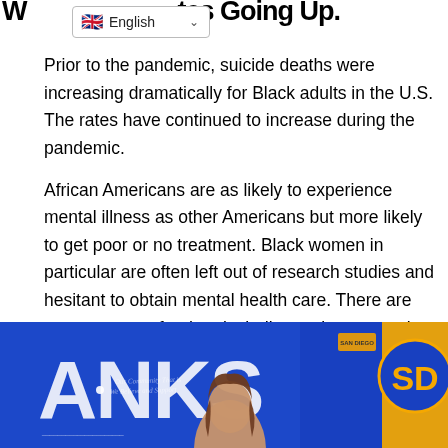Why Are Rates Going Up?
Prior to the pandemic, suicide deaths were increasing dramatically for Black adults in the U.S. The rates have continued to increase during the pandemic.
African Americans are as likely to experience mental illness as other Americans but more likely to get poor or no treatment. Black women in particular are often left out of research studies and hesitant to obtain mental health care. There are many reasons for that, including racism, mental health stigma, and the history of providers using information against them. They may also have difficulty finding therapists who are Black or culturally competent.
[Figure (photo): A woman in front of a blue banner with partial text 'ANKS' and a gold and blue San Diego logo/emblem on the right side.]